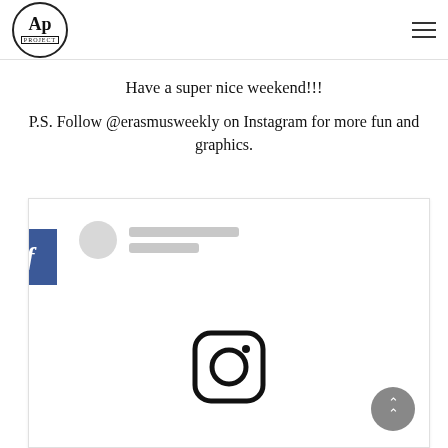[Figure (logo): AP Project logo in a circle with 'AP' and 'PROJECT' text]
Have a super nice weekend!!!
P.S. Follow @erasmusweekly on Instagram for more fun and graphics.
[Figure (screenshot): Embedded social media post preview with Facebook tab on the left, a placeholder profile image and name bars, and an Instagram icon at the bottom center. A scroll-to-top button is in the bottom right corner.]